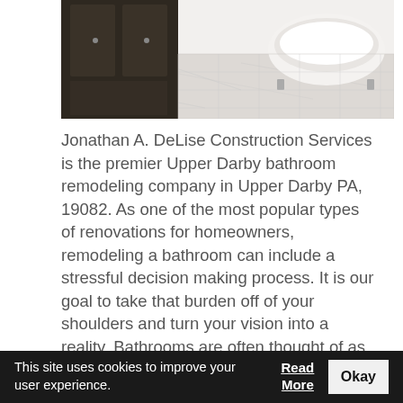[Figure (photo): Bathroom renovation photo showing a dark wood vanity on the left, a clawfoot bathtub on the right, and a white marble tile floor.]
Jonathan A. DeLise Construction Services is the premier Upper Darby bathroom remodeling company in Upper Darby PA, 19082. As one of the most popular types of renovations for homeowners, remodeling a bathroom can include a stressful decision making process. It is our goal to take that burden off of your shoulders and turn your vision into a reality. Bathrooms are often thought of as a location for relaxation, so it is important that you, the homeowner, have that same luxury. A renovated bathroom can increase your home's overall value, as well as provide you and your family with additional comfort. Our Upper Darby bathroom remodeling contractors are dedicated
This site uses cookies to improve your user experience.  Read More  Okay